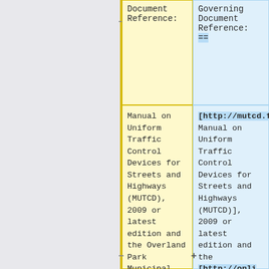| Document Reference: | Governing Document Reference: |
| --- | --- |
| Manual on Uniform Traffic Control Devices for Streets and Highways (MUTCD), 2009 or latest edition and the Overland Park Municipal Code 12.04. | [http://mutcd.fhwa.dot.gov Manual on Uniform Traffic Control Devices for Streets and Highways (MUTCD)], 2009 or latest edition and the [http://online.encodeplu s.com/regs/overlandpark |